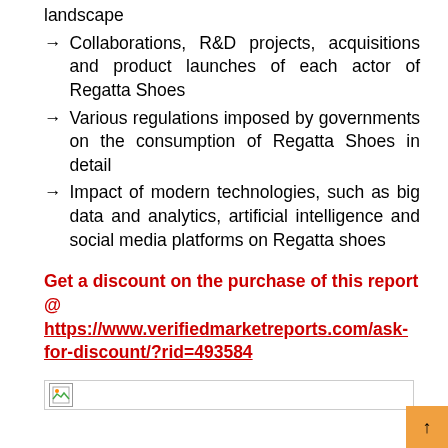landscape
→ Collaborations, R&D projects, acquisitions and product launches of each actor of Regatta Shoes
→ Various regulations imposed by governments on the consumption of Regatta Shoes in detail
→ Impact of modern technologies, such as big data and analytics, artificial intelligence and social media platforms on Regatta shoes
Get a discount on the purchase of this report @ https://www.verifiedmarketreports.com/ask-for-discount/?rid=493584
[Figure (other): Broken image placeholder icon]
[Figure (other): Orange button with arrow icon in bottom right corner]